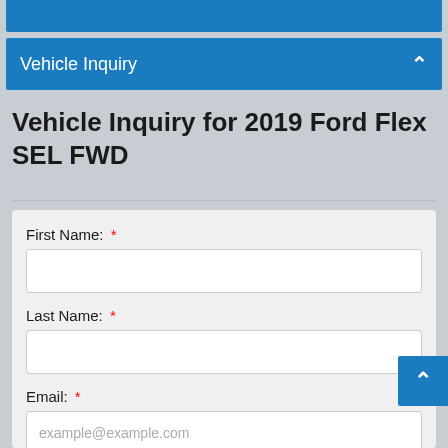Vehicle Inquiry
Vehicle Inquiry for 2019 Ford Flex SEL FWD
First Name: *
Last Name: *
Email: *
example@example.com
Mobile Phone: